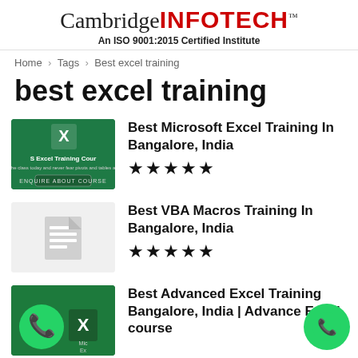[Figure (logo): Cambridge INFOTECH logo with 'An ISO 9001:2015 Certified Institute' tagline]
Home › Tags › Best excel training
best excel training
[Figure (illustration): Green thumbnail showing MS Excel Training Course with Excel icon]
Best Microsoft Excel Training In Bangalore, India ★★★★★
[Figure (illustration): Light gray thumbnail with document icon for VBA Macros course]
Best VBA Macros Training In Bangalore, India ★★★★★
[Figure (illustration): Green thumbnail showing WhatsApp logo and Excel icon for Advanced Excel course]
Best Advanced Excel Training Bangalore, India | Advance Excel course